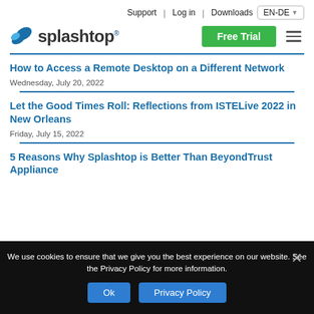Support | Log in | Downloads | EN-DE
[Figure (logo): Splashtop logo with splash icon and wordmark]
How to Access a Remote Desktop on a Different Network
Wednesday, July 20, 2022
Let the Good Times Roll: Reflections from ISTELive 2022 in New Orleans
Friday, July 15, 2022
5 Reasons Why Splashtop is Better Than BeyondTrust Appliance
We use cookies to ensure that we give you the best experience on our website. See the Privacy Policy for more information.